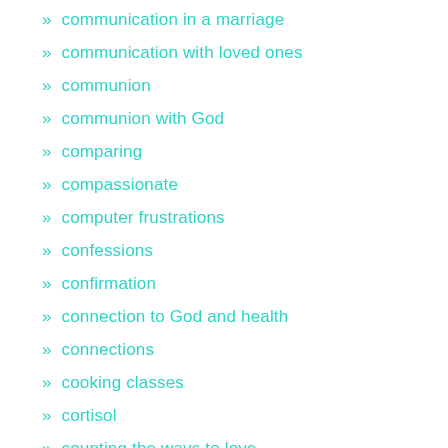communication in a marriage
communication with loved ones
communion
communion with God
comparing
compassionate
computer frustrations
confessions
confirmation
connection to God and health
connections
cooking classes
cortisol
counting the ways to love
coupons
courtship